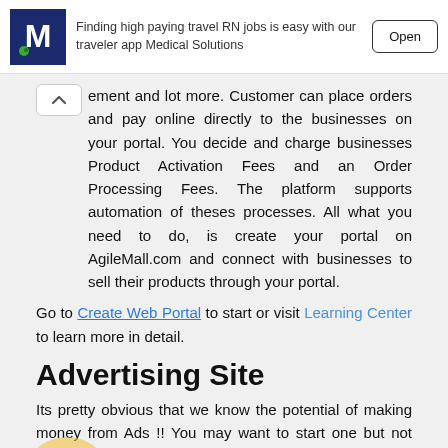[Figure (other): Advertisement banner for Medical Solutions app showing logo, text 'Finding high paying travel RN jobs is easy with our traveler app Medical Solutions' and an Open button]
ement and lot more. Customer can place orders and pay online directly to the businesses on your portal. You decide and charge businesses Product Activation Fees and an Order Processing Fees. The platform supports automation of theses processes. All what you need to do, is create your portal on AgileMall.com and connect with businesses to sell their products through your portal.
Go to Create Web Portal to start or visit Learning Center to learn more in detail.
Advertising Site
Its pretty obvious that we know the potential of making money from Ads !! You may want to start one but not sure how to. AgileMall.com has made it easy. AgileMall.com provides an easy and user friendly platform to you to start feature rich Advertising Site with No Need for Coding. Run your very own